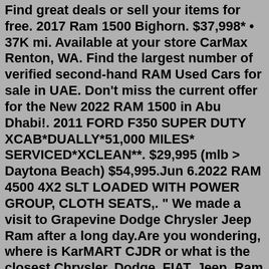Find great deals or sell your items for free. 2017 Ram 1500 Bighorn. $37,998* • 37K mi. Available at your store CarMax Renton, WA. Find the largest number of verified second-hand RAM Used Cars for sale in UAE. Don't miss the current offer for the New 2022 RAM 1500 in Abu Dhabi!. 2011 FORD F350 SUPER DUTY XCAB*DUALLY*51,000 MILES*SERVICED*XCLEAN**. $29,995 (mlb > Daytona Beach) $54,995.Jun 6.2022 RAM 4500 4X2 SLT LOADED WITH POWER GROUP, CLOTH SEATS,. " We made a visit to Grapevine Dodge Chrysler Jeep Ram after a long day.Are you wondering, where is KarMART CJDR or what is the closest Chrysler, Dodge, FIAT, Jeep, Ram and Wagoneer dealer near me? KarMART CJDR is located at 660 Auto Blvd, Burlington, WA 98233. You can call our Sales Department at 360-873-5602, Service Department at 360-230-6419, or our Parts Department at 360-488-0090.The RAM 1500 . With the largest selection of cars from dealers and private sellers, Autotrader can help find the perfect 1500 for you. Autotrader has 351